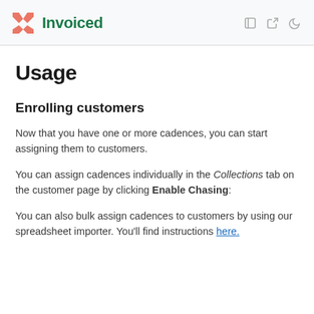Invoiced
Usage
Enrolling customers
Now that you have one or more cadences, you can start assigning them to customers.
You can assign cadences individually in the Collections tab on the customer page by clicking Enable Chasing:
You can also bulk assign cadences to customers by using our spreadsheet importer. You'll find instructions here.